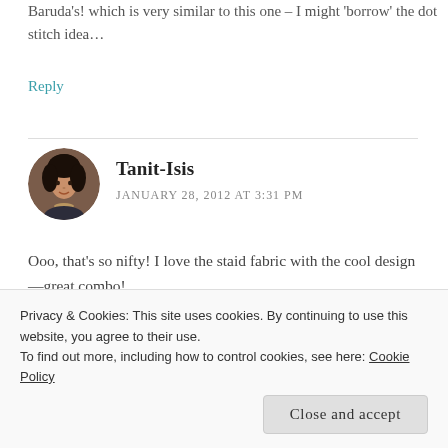Baruda's! which is very similar to this one – I might 'borrow' the dot stitch idea...
Reply
Tanit-Isis
JANUARY 28, 2012 AT 3:31 PM
Ooo, that's so nifty! I love the staid fabric with the cool design—great combo!
Privacy & Cookies: This site uses cookies. By continuing to use this website, you agree to their use. To find out more, including how to control cookies, see here: Cookie Policy
Close and accept